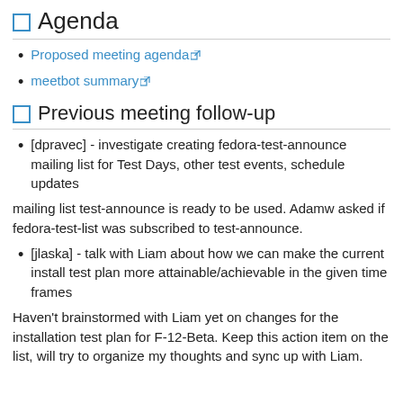Agenda
Proposed meeting agenda
meetbot summary
Previous meeting follow-up
[dpravec] - investigate creating fedora-test-announce mailing list for Test Days, other test events, schedule updates
mailing list test-announce is ready to be used. Adamw asked if fedora-test-list was subscribed to test-announce.
[jlaska] - talk with Liam about how we can make the current install test plan more attainable/achievable in the given time frames
Haven't brainstormed with Liam yet on changes for the installation test plan for F-12-Beta. Keep this action item on the list, will try to organize my thoughts and sync up with Liam.